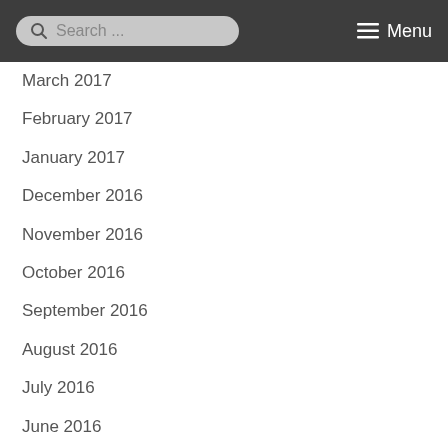Search ... Menu
March 2017
February 2017
January 2017
December 2016
November 2016
October 2016
September 2016
August 2016
July 2016
June 2016
May 2016
April 2016
March 2016
February 2016
January 2016
December 2015
November 2015